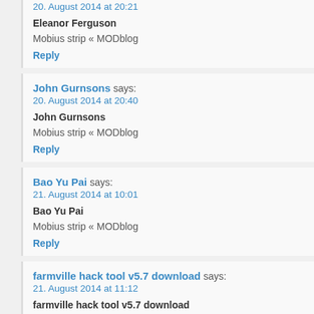20. August 2014 at 20:21
Eleanor Ferguson
Mobius strip « MODblog
Reply
John Gurnsons says: 20. August 2014 at 20:40
John Gurnsons
Mobius strip « MODblog
Reply
Bao Yu Pai says: 21. August 2014 at 10:01
Bao Yu Pai
Mobius strip « MODblog
Reply
farmville hack tool v5.7 download says: 21. August 2014 at 11:12
farmville hack tool v5.7 download
Mobius strip « MODblog